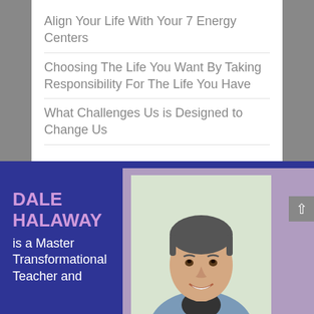Align Your Life With Your 7 Energy Centers
Choosing The Life You Want By Taking Responsibility For The Life You Have
What Challenges Us is Designed to Change Us
DALE HALAWAY is a Master Transformational Teacher and
[Figure (photo): Headshot of a middle-aged man with dark grey hair, smiling, wearing a denim jacket, against a light background. Photo framed with a lavender/purple border.]